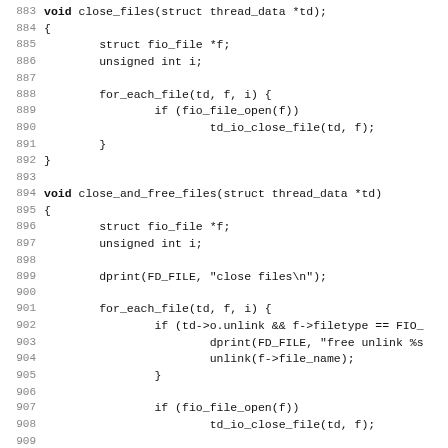Source code listing lines 884–915 showing C functions for file operations including close_io_files and close_and_free_files with for_each_file loops, conditional file close and unlink operations, and file name/map cleanup.